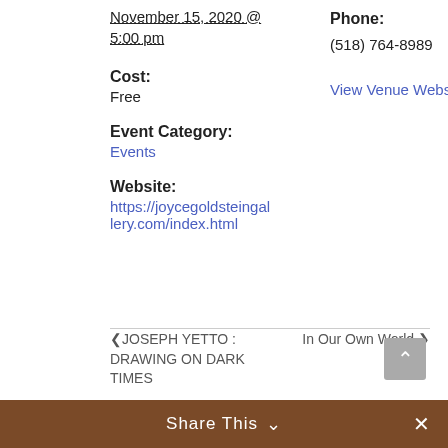November 15, 2020 @ 5:00 pm
Phone: (518) 764-8989
View Venue Website
Cost:
Free
Event Category:
Events
Website:
https://joycegoldsteingallery.com/index.html
◂ JOSEPH YETTO : DRAWING ON DARK TIMES
In Our Own World ▸
Share This ∨ ✕